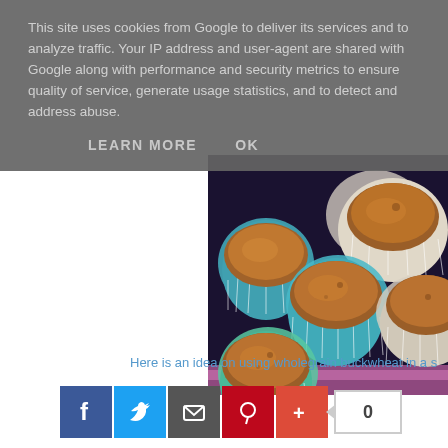This site uses cookies from Google to deliver its services and to analyze traffic. Your IP address and user-agent are shared with Google along with performance and security metrics to ensure quality of service, generate usage statistics, and to detect and address abuse.
LEARN MORE   OK
[Figure (photo): Overhead photo of multiple chocolate muffins/cupcakes in colorful (turquoise, light green, white) paper baking cups arranged on a dark purple/blue background]
Here is an idea on using wholegrain buckwheat in a s
0